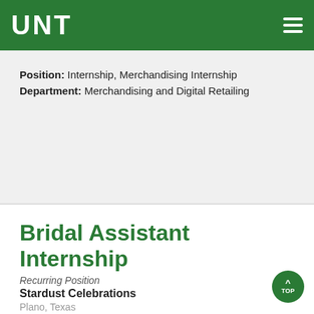UNT
Position: Internship, Merchandising Internship
Department: Merchandising and Digital Retailing
Bridal Assistant Internship
Recurring Position
Stardust Celebrations
Plano, Texas
Position: Internship, Merchandising Internship
Department: Merchandising and Digital Retailing
Men's Product